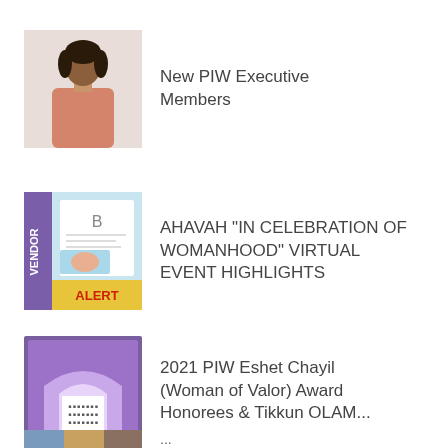[Figure (photo): Thumbnail photo of a woman in a pink/coral dress]
New PIW Executive Members
[Figure (illustration): Vendor Alert promotional graphic with blue background]
AHAVAH "IN CELEBRATION OF WOMANHOOD" VIRTUAL EVENT HIGHLIGHTS
[Figure (photo): 2021 PIW calendar or awards graphic with purple/colorful border]
2021 PIW Eshet Chayil (Woman of Valor) Award Honorees & Tikkun OLAM...
[Figure (photo): Partial thumbnail at bottom of page]